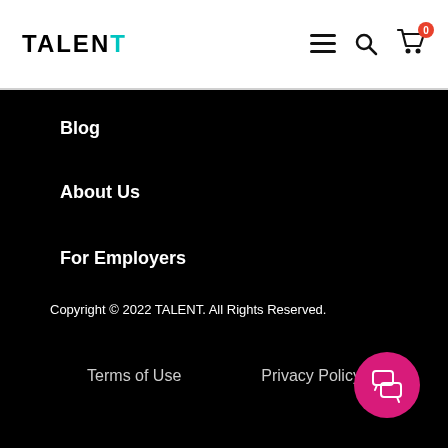TALENT — navigation header with hamburger menu, search icon, and cart icon showing 0
Blog
About Us
For Employers
Copyright © 2022 TALENT. All Rights Reserved.
Terms of Use   Privacy Policy